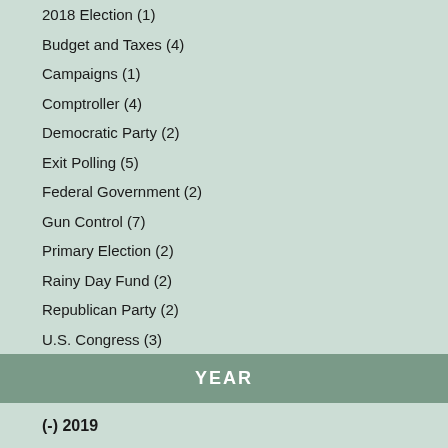2018 Election (1)
Budget and Taxes (4)
Campaigns (1)
Comptroller (4)
Democratic Party (2)
Exit Polling (5)
Federal Government (2)
Gun Control (7)
Primary Election (2)
Rainy Day Fund (2)
Republican Party (2)
U.S. Congress (3)
YEAR
(-) 2019
(-) 2016
(-) 2009
(-) 1975
2020 (1)